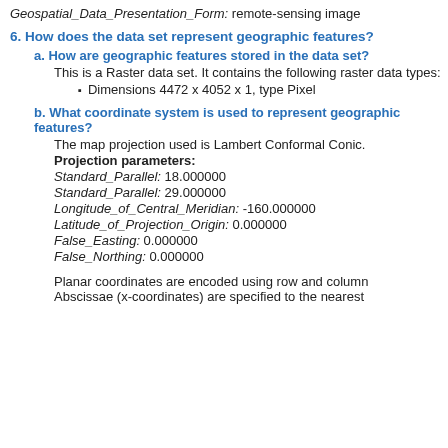Geospatial_Data_Presentation_Form: remote-sensing image
6. How does the data set represent geographic features?
a. How are geographic features stored in the data set?
This is a Raster data set. It contains the following raster data types:
Dimensions 4472 x 4052 x 1, type Pixel
b. What coordinate system is used to represent geographic features?
The map projection used is Lambert Conformal Conic.
Projection parameters:
Standard_Parallel: 18.000000
Standard_Parallel: 29.000000
Longitude_of_Central_Meridian: -160.000000
Latitude_of_Projection_Origin: 0.000000
False_Easting: 0.000000
False_Northing: 0.000000
Planar coordinates are encoded using row and column
Abscissae (x-coordinates) are specified to the nearest